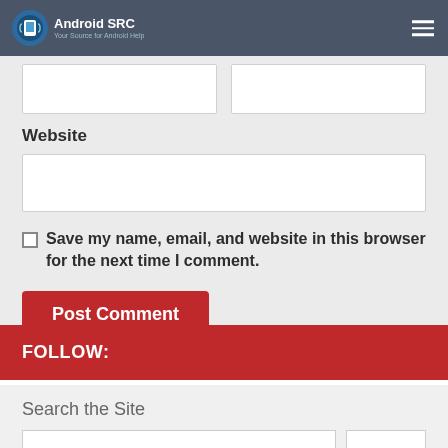Android SRC — Your Source for Android Help
Website
Save my name, email, and website in this browser for the next time I comment.
Post Comment
FOLLOW:
Search the Site